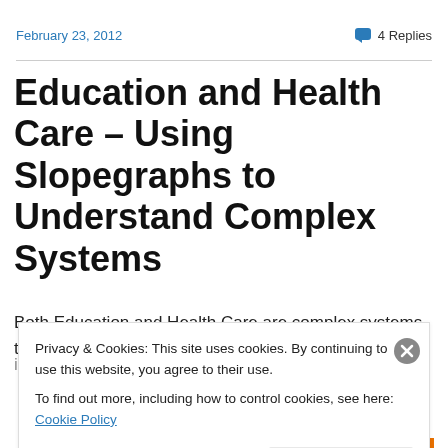February 23, 2012
4 Replies
Education and Health Care – Using Slopegraphs to Understand Complex Systems
Both Education and Health Care are complex systems that impact everyone. Those who work in both of these
Privacy & Cookies: This site uses cookies. By continuing to use this website, you agree to their use.
To find out more, including how to control cookies, see here: Cookie Policy